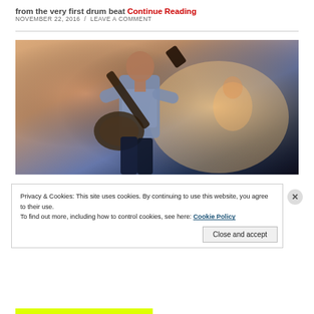from the very first drum beat Continue Reading
NOVEMBER 22, 2016  /  LEAVE A COMMENT
[Figure (photo): Concert photo of a guitarist playing on stage with warm stage lighting and haze. Another musician is visible in the background.]
Privacy & Cookies: This site uses cookies. By continuing to use this website, you agree to their use.
To find out more, including how to control cookies, see here: Cookie Policy
Close and accept